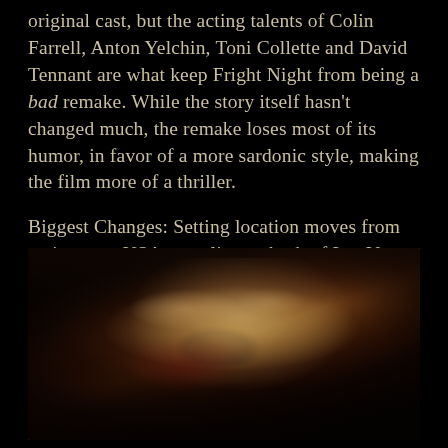original cast, but the acting talents of Colin Farrell, Anton Yelchin, Toni Collette and David Tennant are what keep Fright Night from being a bad remake. While the story itself hasn't changed much, the remake loses most of its humor, in favor of a more sardonic style, making the film more of a thriller.

Biggest Changes: Setting location moves from main town, USA to a glitzy suburb of Las Vegas. No more camp, just blood-thirsty vampires.
[Figure (photo): A woman with an open mouth showing fanged teeth, appearing to be transforming into a vampire, photographed in dark dramatic lighting with brown and shadow tones.]